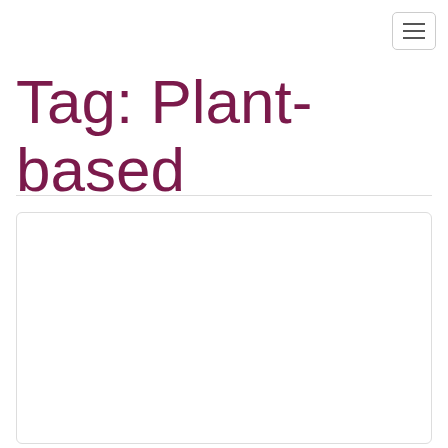[Figure (other): Hamburger menu button with three horizontal lines, rounded border]
Tag: Plant-based
[Figure (other): White card/content area with rounded corners and light border]